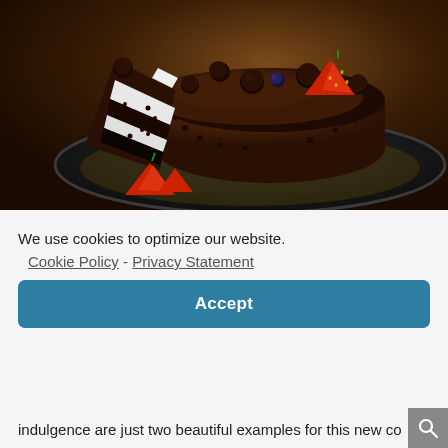[Figure (photo): A chocolate cake on a black plate with dark chocolate ganache coating, chocolate truffle balls and fresh strawberries on top, with a slice removed showing the layered interior with white cream and dark cookie base.]
We use cookies to optimize our website.
Cookie Policy - Privacy Statement
Accept
indulgence are just two beautiful examples for this new co